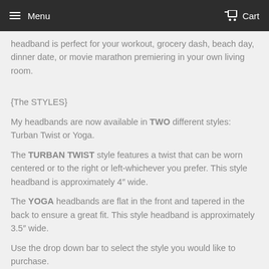Menu | Cart
headband is perfect for your workout, grocery dash, beach day, dinner date, or movie marathon premiering in your own living room.
{The STYLES}
My headbands are now available in TWO different styles: Turban Twist or Yoga.
The TURBAN TWIST style features a twist that can be worn centered or to the right or left-whichever you prefer. This style headband is approximately 4" wide.
The YOGA headbands are flat in the front and tapered in the back to ensure a great fit. This style headband is approximately 3.5" wide.
Use the drop down bar to select the style you would like to purchase.